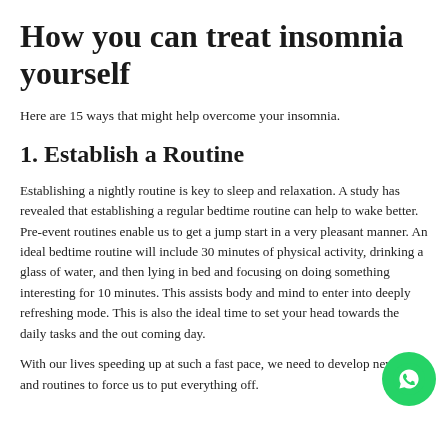How you can treat insomnia yourself
Here are 15 ways that might help overcome your insomnia.
1. Establish a Routine
Establishing a nightly routine is key to sleep and relaxation. A study has revealed that establishing a regular bedtime routine can help to wake better. Pre-event routines enable us to get a jump start in a very pleasant manner. An ideal bedtime routine will include 30 minutes of physical activity, drinking a glass of water, and then lying in bed and focusing on doing something interesting for 10 minutes. This assists body and mind to enter into deeply refreshing mode. This is also the ideal time to set your head towards the daily tasks and the out coming day.
With our lives speeding up at such a fast pace, we need to develop new skills and routines to force us to put everything off.
[Figure (logo): WhatsApp icon button (green circle with white phone handset)]